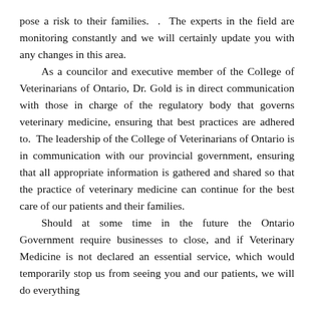pose a risk to their families.  .  The experts in the field are monitoring constantly and we will certainly update you with any changes in this area.
  As a councilor and executive member of the College of Veterinarians of Ontario, Dr. Gold is in direct communication with those in charge of the regulatory body that governs veterinary medicine, ensuring that best practices are adhered to.  The leadership of the College of Veterinarians of Ontario is in communication with our provincial government, ensuring that all appropriate information is gathered and shared so that the practice of veterinary medicine can continue for the best care of our patients and their families.
  Should at some time in the future the Ontario Government require businesses to close, and if Veterinary Medicine is not declared an essential service, which would temporarily stop us from seeing you and our patients, we will do everything